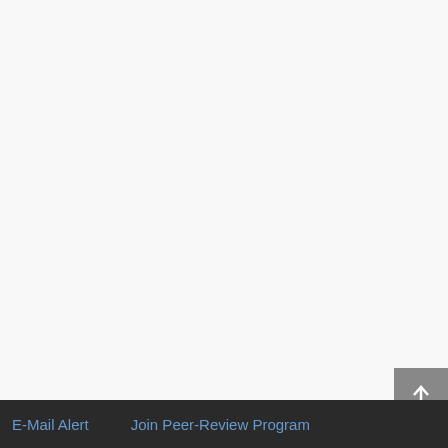[Figure (table-as-image): Thumbnail of a data table with columns for test, anisotropy, sensitivity, Bonferroni. Top right section of page.]
Table ... (H), a...
[Figure (table-as-image): Thumbnail of a data table with columns for test, anisotropy, sensitivity, Bonferroni. Middle right section of page.]
Table ... day ... betw...
Top
ABSTRACT
Introduction
Methods and Materials
Results
Discussion
[Figure (continuous-plot): Partial view of a line chart with a peak, red and blue lines. Bottom right section of page.]
Figu... Aste...
E-Mail Alert    Join Peer-Review Program